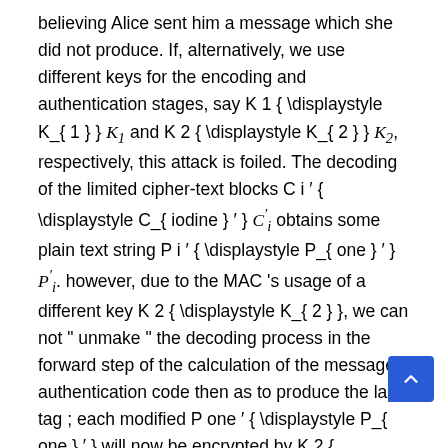believing Alice sent him a message which she did not produce. If, alternatively, we use different keys for the encoding and authentication stages, say K 1 { \displaystyle K_{ 1 } } K₁ and K 2 { \displaystyle K_{ 2 } } K₂, respectively, this attack is foiled. The decoding of the limited cipher-text blocks C i ′ { \displaystyle C_{ iodine } ′ } C′ᵢ obtains some plain text string P i ′ { \displaystyle P_{ one } ′ } P′ᵢ. however, due to the MAC 's usage of a different key K 2 { \displaystyle K_{ 2 } }, we can not " unmake " the decoding process in the forward step of the calculation of the message authentication code then as to produce the lapp tag ; each modified P one ′ { \displaystyle P_{ one } ′ } will now be encrypted by K 2 { \displaystyle K_{ 2 } } in the CBC MAC...